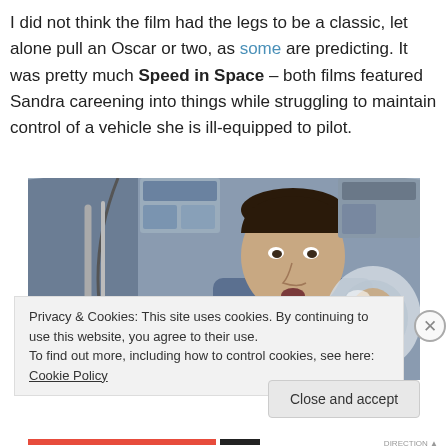I did not think the film had the legs to be a classic, let alone pull an Oscar or two, as some are predicting. It was pretty much Speed in Space – both films featured Sandra careening into things while struggling to maintain control of a vehicle she is ill-equipped to pilot.
[Figure (photo): Movie still showing a man in a blue denim shirt in a spacecraft interior, with a woman visible in an astronaut helmet in the background right.]
Privacy & Cookies: This site uses cookies. By continuing to use this website, you agree to their use. To find out more, including how to control cookies, see here: Cookie Policy
Close and accept